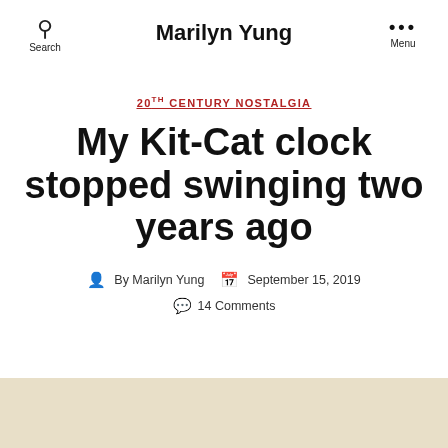Marilyn Yung
20TH CENTURY NOSTALGIA
My Kit-Cat clock stopped swinging two years ago
By Marilyn Yung   September 15, 2019
14 Comments